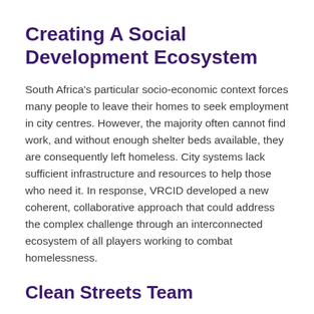Creating A Social Development Ecosystem
South Africa's particular socio-economic context forces many people to leave their homes to seek employment in city centres. However, the majority often cannot find work, and without enough shelter beds available, they are consequently left homeless. City systems lack sufficient infrastructure and resources to help those who need it. In response, VRCID developed a new coherent, collaborative approach that could address the complex challenge through an interconnected ecosystem of all players working to combat homelessness.
Clean Streets Team